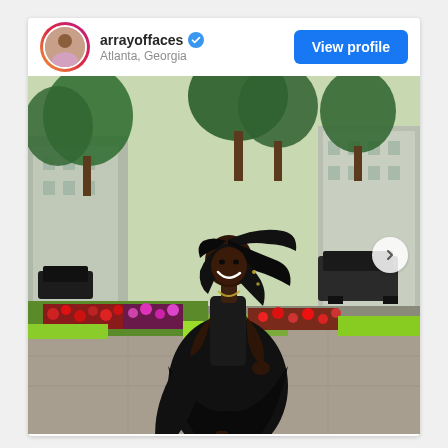[Figure (screenshot): Instagram post card from user 'arrayoffaces' located in Atlanta, Georgia, with a verified badge. Shows a 'View profile' button on the right. The post image shows a woman in a black dress with braided hair, smiling and spinning on a city sidewalk, with colorful flower beds (red, pink, yellow-green) and green trees in the background. A navigation arrow '>' is visible on the right side of the photo.]